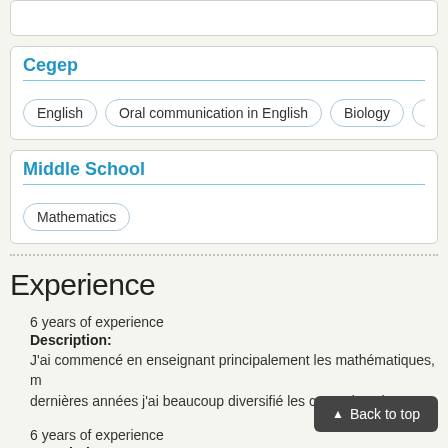[Figure (screenshot): Partial top section showing tag buttons, cropped at top]
Cegep
English
Oral communication in English
Biology
Molecular biology
Microbiology (partial)
Middle School
Mathematics
Experience
6 years of experience
Description:
J'ai commencé en enseignant principalement les mathématiques, m dernières années j'ai beaucoup diversifié les cours donnés
6 years of experience
Description:
Back to top